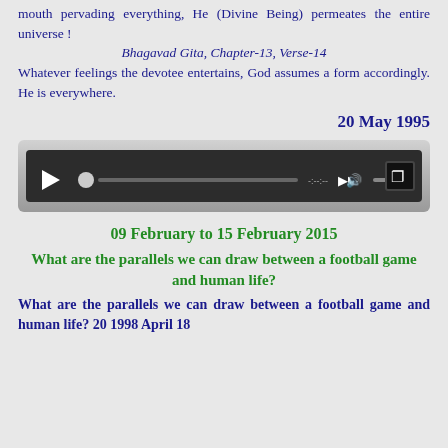mouth pervading everything, He (Divine Being) permeates the entire universe !
Bhagavad Gita, Chapter-13, Verse-14
Whatever feelings the devotee entertains, God assumes a form accordingly. He is everywhere.
20 May 1995
[Figure (screenshot): Audio player control bar with dark background, play button, progress bar with thumb, time marker, volume control, and expand button]
09 February to 15 February 2015
What are the parallels we can draw between a football game and human life?
What are the parallels we can draw between a football game and human life? 20 1998 April 18